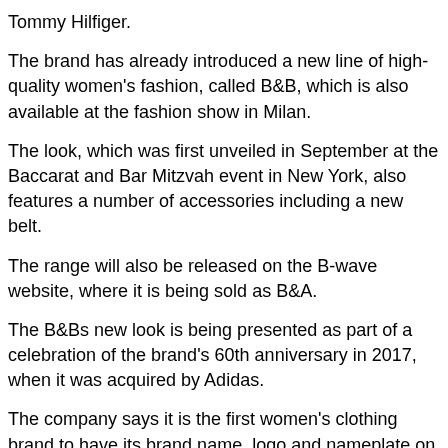Tommy Hilfiger.
The brand has already introduced a new line of high-quality women's fashion, called B&B, which is also available at the fashion show in Milan.
The look, which was first unveiled in September at the Baccarat and Bar Mitzvah event in New York, also features a number of accessories including a new belt.
The range will also be released on the B-wave website, where it is being sold as B&A.
The B&Bs new look is being presented as part of a celebration of the brand's 60th anniversary in 2017, when it was acquired by Adidas.
The company says it is the first women's clothing brand to have its brand name, logo and nameplate on its products, which it says will make it more relevant to a global audience.
“The new collection is a reflection on the past 60 years of B&R